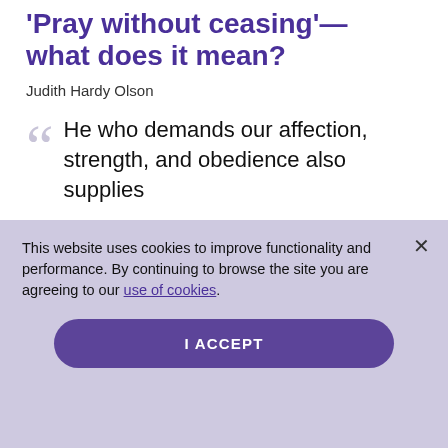'Pray without ceasing'— what does it mean?
Judith Hardy Olson
He who demands our affection, strength, and obedience also supplies
This website uses cookies to improve functionality and performance. By continuing to browse the site you are agreeing to our use of cookies.
I ACCEPT